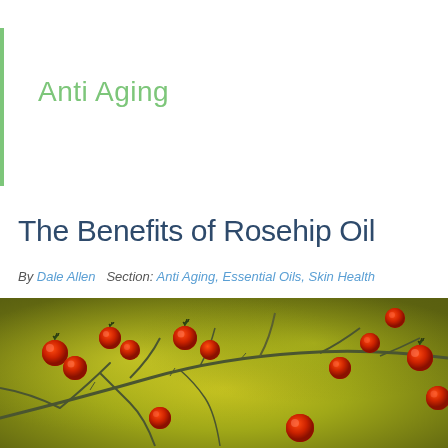Anti Aging
The Benefits of Rosehip Oil
By Dale Allen   Section: Anti Aging, Essential Oils, Skin Health
[Figure (photo): Close-up photograph of rosehip berries (bright red round fruits) on thorny branches against a blurred olive-green background]